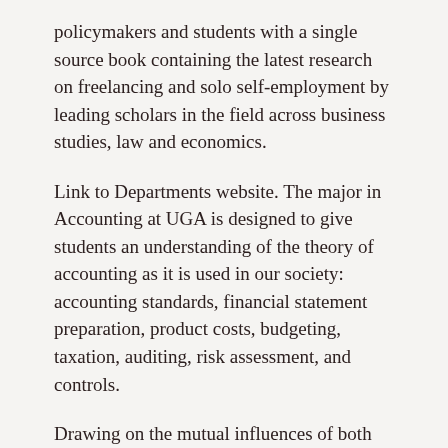policymakers and students with a single source book containing the latest research on freelancing and solo self-employment by leading scholars in the field across business studies, law and economics.
Link to Departments website. The major in Accounting at UGA is designed to give students an understanding of the theory of accounting as it is used in our society: accounting standards, financial statement preparation, product costs, budgeting, taxation, auditing, risk assessment, and controls.
Drawing on the mutual influences of both corporate culture and stakeholder culture on organisational identity (Hatch, ), the researchers used this case study to explore the consequences of an imposed Values-based culture program on employees, and assess the risk if employees felt management violated these espoused